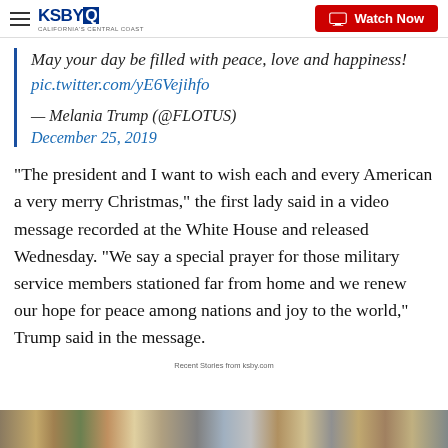KSBY California's Central Coast — Watch Now
May your day be filled with peace, love and happiness! pic.twitter.com/yE6Vejihfo

— Melania Trump (@FLOTUS)
December 25, 2019
“The president and I want to wish each and every American a very merry Christmas,” the first lady said in a video message recorded at the White House and released Wednesday. “We say a special prayer for those military service members stationed far from home and we renew our hope for peace among nations and joy to the world,” Trump said in the message.
Recent Stories from ksby.com
[Figure (photo): Bottom image strip showing thumbnail photos]